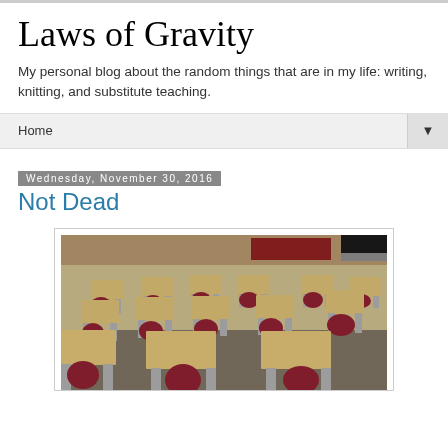Laws of Gravity
My personal blog about the random things that are in my life: writing, knitting, and substitute teaching.
Home ▼
Wednesday, November 30, 2016
Not Dead
[Figure (photo): A classroom with rows of student desks with light wood-colored tops and dark red/maroon chairs, viewed from the front of the room. The room has light-colored walls and a dark floor.]